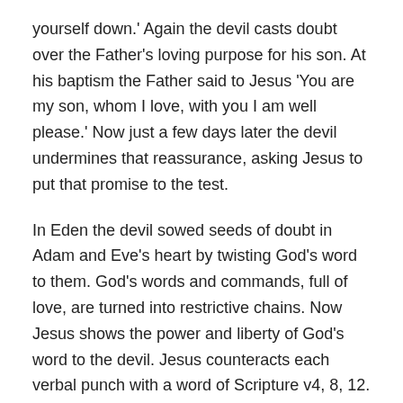yourself down.' Again the devil casts doubt over the Father's loving purpose for his son. At his baptism the Father said to Jesus 'You are my son, whom I love, with you I am well please.' Now just a few days later the devil undermines that reassurance, asking Jesus to put that promise to the test.
In Eden the devil sowed seeds of doubt in Adam and Eve's heart by twisting God's word to them. God's words and commands, full of love, are turned into restrictive chains. Now Jesus shows the power and liberty of God's word to the devil. Jesus counteracts each verbal punch with a word of Scripture v4, 8, 12. And when the devil uses a verse of Scripture for evil purposes Jesus realises the trap v10,11.
In this war of temptation and doubt the word of God provides the strength and security Jesus needs to persevere. And Jesus